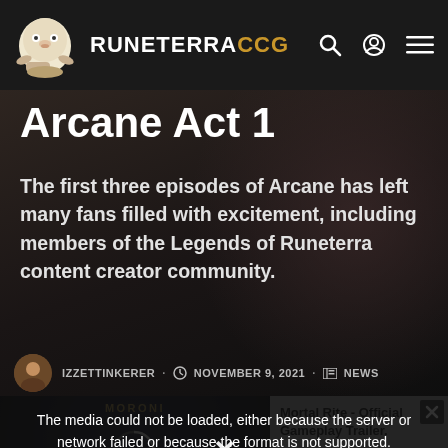RUNETERRACCG
Arcane Act 1
The first three episodes of Arcane has left many fans filled with excitement, including members of the Legends of Runeterra content creator community.
IZZETTINKERER · NOVEMBER 9, 2021 · NEWS
[Figure (screenshot): Video player showing Mortal Rite - Official Gameplay Trailer with error message: The media could not be loaded, either because the server or network failed or because the format is not supported.]
fans filled with excitement, including members of the Legends of Runeterra content creator community.